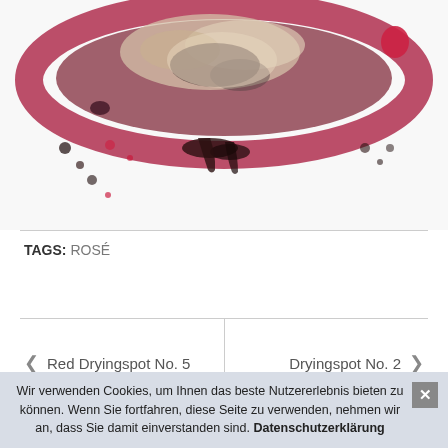[Figure (photo): Close-up top half of a wine drying spot / ring stain on white background — dark red/maroon circular stain with dried crusty texture, flaking white residue, dark liquid drips at bottom, scattered small droplets around it. Red ellipse visible top right.]
TAGS: ROSÉ
< Red Dryingspot No. 5    Dryingspot No. 2 >
Wir verwenden Cookies, um Ihnen das beste Nutzererlebnis bieten zu können. Wenn Sie fortfahren, diese Seite zu verwenden, nehmen wir an, dass Sie damit einverstanden sind. Datenschutzerklärung